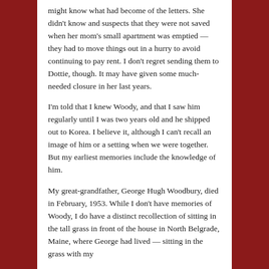might know what had become of the letters.  She didn't know and suspects that they were not saved when her mom's small apartment was emptied — they had to move things out in a hurry to avoid continuing to pay rent.  I don't regret sending them to Dottie, though.  It may have given some much-needed closure in her last years.
I'm told that I knew Woody, and that I saw him regularly until I was two years old and he shipped out to Korea.  I believe it, although I can't recall an image of him or a setting when we were together.  But my earliest memories include the knowledge of him.
My great-grandfather, George Hugh Woodbury, died in February, 1953. While I don't have memories of Woody, I do have a distinct recollection of sitting in the tall grass in front of the house in North Belgrade, Maine, where George had lived — sitting in the grass with my